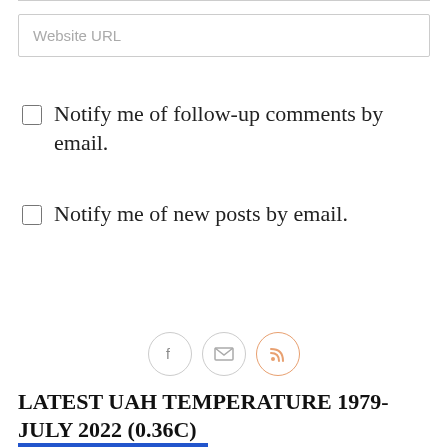Website URL
Notify me of follow-up comments by email.
Notify me of new posts by email.
ADD COMMENT
[Figure (other): Social media icons: Facebook (f), Email (envelope), RSS feed]
LATEST UAH TEMPERATURE 1979-JULY 2022 (0.36C)